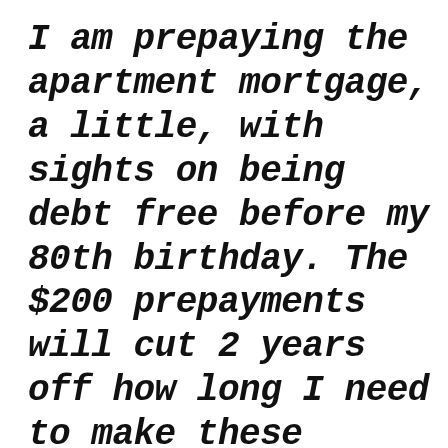I am prepaying the apartment mortgage, a little, with sights on being debt free before my 80th birthday. The $200 prepayments will cut 2 years off how long I need to make these payments. The additional $200 is